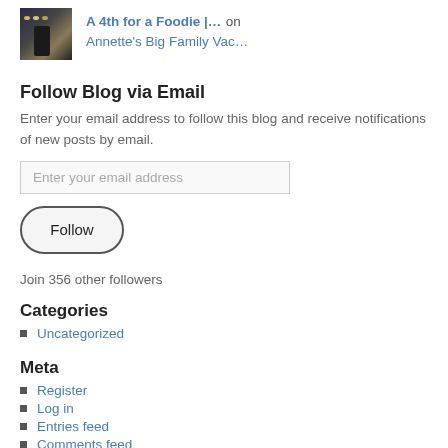[Figure (photo): Thumbnail image of a nighttime outdoor scene with lights and a silhouetted figure]
A 4th for a Foodie |… on Annette's Big Family Vac…
Follow Blog via Email
Enter your email address to follow this blog and receive notifications of new posts by email.
Enter your email address
Follow
Join 356 other followers
Categories
Uncategorized
Meta
Register
Log in
Entries feed
Comments feed
WordPress.com